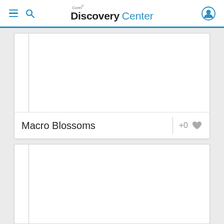Corel® Discovery Center
Macro Blossoms
+0
[Figure (screenshot): Corel Discovery Center website screenshot showing two content cards. The top card has a white image area with a vertical border line on the left, a footer with 'Macro Blossoms' title and a +0 heart icon. The bottom card shows another white image area partially visible.]